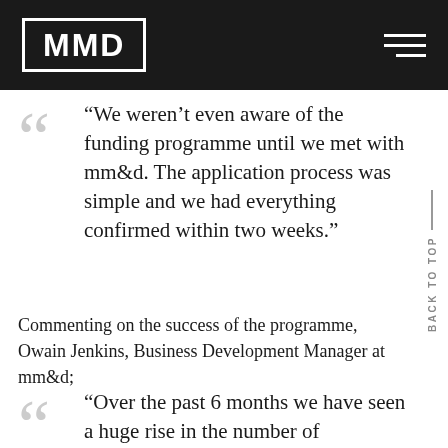MMD
“We weren’t even aware of the funding programme until we met with mm&d. The application process was simple and we had everything confirmed within two weeks.”
Commenting on the success of the programme, Owain Jenkins, Business Development Manager at mm&d;
“Over the past 6 months we have seen a huge rise in the number of